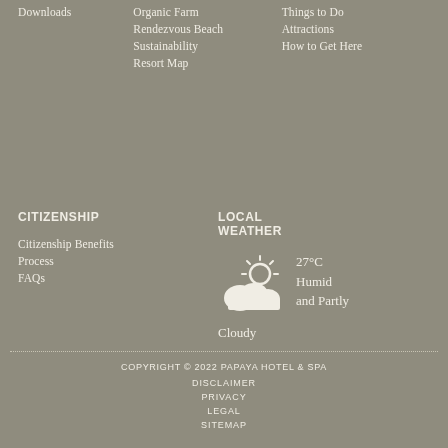Downloads
Organic Farm
Things to Do
Rendezvous Beach
Attractions
Sustainability
How to Get Here
Resort Map
CITIZENSHIP
Citizenship Benefits
Process
FAQs
LOCAL WEATHER
[Figure (illustration): Partly cloudy weather icon — cloud with sun behind it]
27°C Humid and Partly Cloudy
COPYRIGHT © 2022 PAPAYA HOTEL & SPA
DISCLAIMER
PRIVACY
LEGAL
SITEMAP